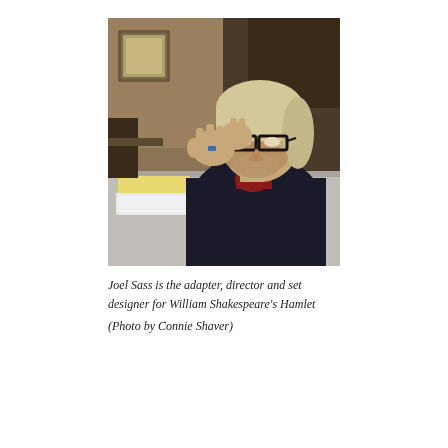[Figure (photo): A man with grey-blonde hair, wearing dark clothing and glasses with a red scarf/collar, sits at a table gesturing with both hands raised. A framed picture is visible on the wall in the background.]
Joel Sass is the adapter, director and set designer for William Shakespeare's Hamlet
(Photo by Connie Shaver)